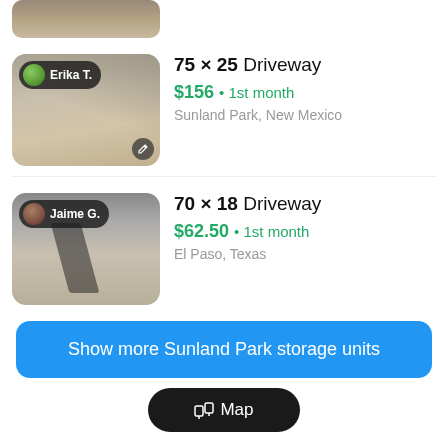[Figure (photo): Partial thumbnail of a driveway listing, cropped at top of page]
75 × 25 Driveway — $156 • 1st month — Sunland Park, New Mexico — Host: Erika T.
70 × 18 Driveway — $62.50 • 1st month — El Paso, Texas — Host: Jaime G.
Show more Sunland Park storage units
Map